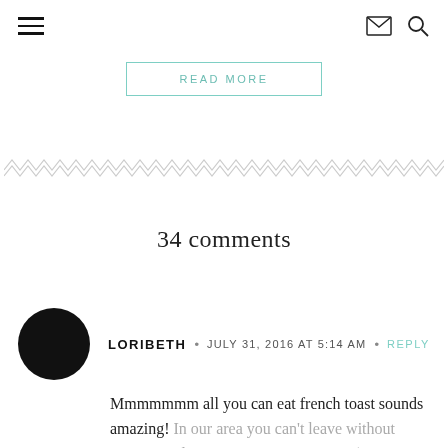Navigation header with hamburger menu, email icon, and search icon
READ MORE
[Figure (illustration): Decorative zigzag/chevron pattern divider line]
34 comments
LORIBETH • JULY 31, 2016 AT 5:14 AM • REPLY
Mmmmmmm all you can eat french toast sounds amazing! In our area you can't leave without trying Maple Street Biscuit Company (amazing biscuits and